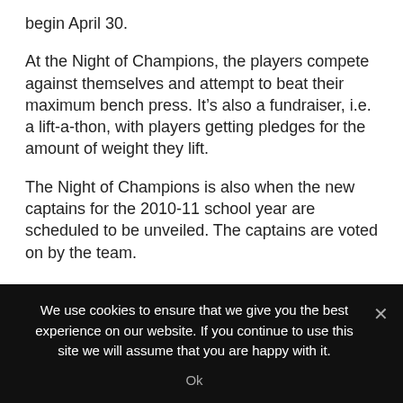begin April 30.
At the Night of Champions, the players compete against themselves and attempt to beat their maximum bench press. It’s also a fundraiser, i.e. a lift-a-thon, with players getting pledges for the amount of weight they lift.
The Night of Champions is also when the new captains for the 2010-11 school year are scheduled to be unveiled. The captains are voted on by the team.
We use cookies to ensure that we give you the best experience on our website. If you continue to use this site we will assume that you are happy with it.
Ok